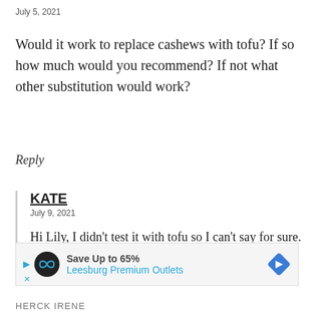July 5, 2021
Would it work to replace cashews with tofu? If so how much would you recommend? If not what other substitution would work?
Reply
KATE
July 9, 2021
Hi Lily, I didn't test it with tofu so I can't say for sure.
Reply
[Figure (other): Advertisement banner: Save Up to 65% Leesburg Premium Outlets with logo and navigation arrow]
HERCK IRENE